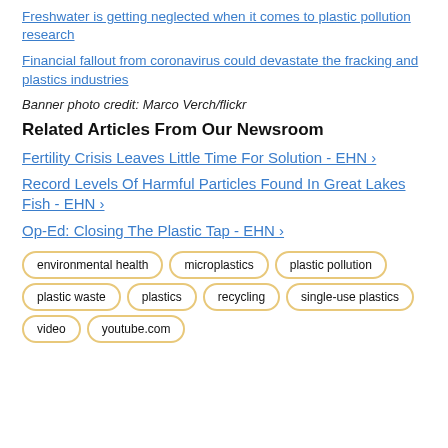Freshwater is getting neglected when it comes to plastic pollution research
Financial fallout from coronavirus could devastate the fracking and plastics industries
Banner photo credit: Marco Verch/flickr
Related Articles From Our Newsroom
Fertility Crisis Leaves Little Time For Solution - EHN ›
Record Levels Of Harmful Particles Found In Great Lakes Fish - EHN ›
Op-Ed: Closing The Plastic Tap - EHN ›
Tags: environmental health, microplastics, plastic pollution, plastic waste, plastics, recycling, single-use plastics, video, youtube.com